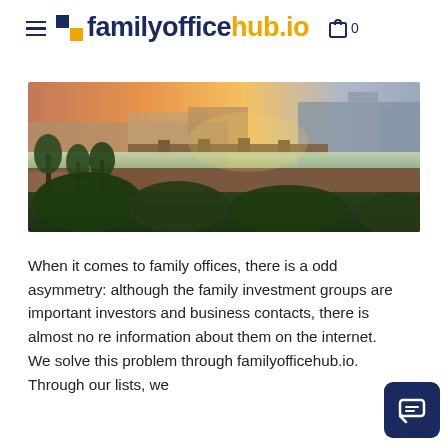familyofficehub.io
[Figure (photo): Aerial/elevated view of Florence, Italy showing the Arno river, Ponte Vecchio bridge, terracotta rooftops, palm trees in foreground, and warm golden sunset light.]
When it comes to family offices, there is a odd asymmetry: although the family investment groups are important investors and business contacts, there is almost no re information about them on the internet. We solve this problem through familyofficehub.io. Through our lists, we